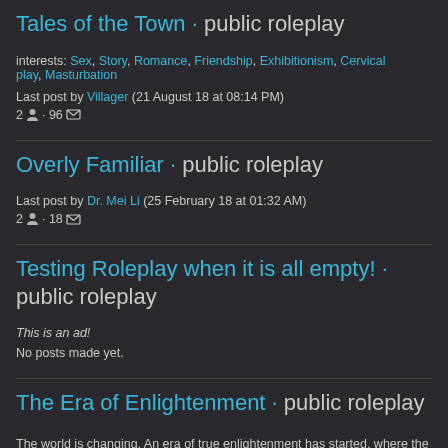Tales of the Town · public roleplay
interests: Sex, Story, Romance, Friendship, Exhibitionism, Cervical play, Masturbation
Last post by Villager (21 August 18 at 08:14 PM)
2 · 96
Overly Familiar · public roleplay
Last post by Dr. Mei Li (25 February 18 at 01:32 AM)
2 · 18
Testing Roleplay when it is all empty! · public roleplay
This is an ad!
No posts made yet.
The Era of Enlightenment · public roleplay
The world is changing. An era of true enlightenment has started, where the universe and life are viewed and studied with respect to their 11 dimensions and their many forms of spiritual energy, and The First is almost universally recognized as the one true deity. Almost. Not